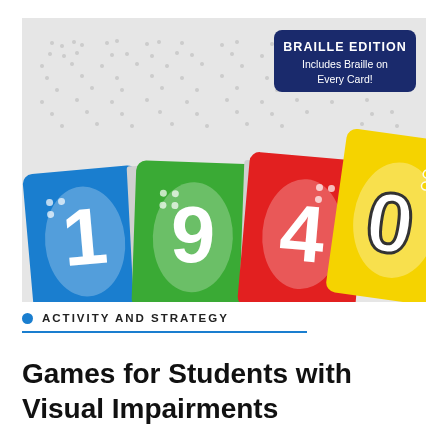[Figure (photo): Close-up photograph of UNO Braille Edition card game cards fanned out showing blue card with '1', green card with '9', red card with '4', and yellow card with '0', all with Braille dots. A dark blue badge in upper right reads 'BRAILLE EDITION — Includes Braille on Every Card!' Background shows light grey surface with Braille dot patterns.]
ACTIVITY AND STRATEGY
Games for Students with Visual Impairments